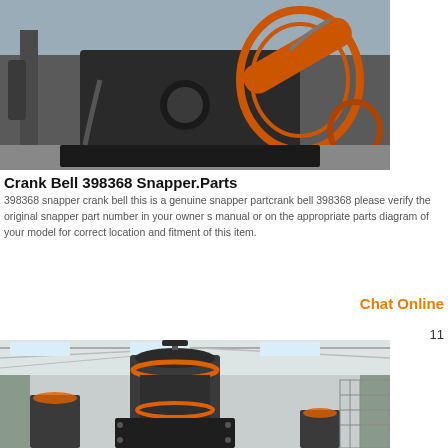[Figure (photo): Industrial machine with large belt drive and flywheel in a warehouse/factory setting. Orange belt guard visible, large black machinery body, concrete floor.]
Crank Bell 398368 Snapper.Parts
398368 snapper crank bell this is a genuine snapper partcrank bell 398368 please verify the original snapper part number in your owner s manual or on the appropriate parts diagram of your model for correct location and fitment of this item.
Chat Online
11
[Figure (photo): Industrial vertical mill or grinding machine with orange accent rings, large cylindrical tower, inside a factory hall with skylights. Multiple similar machines visible.]